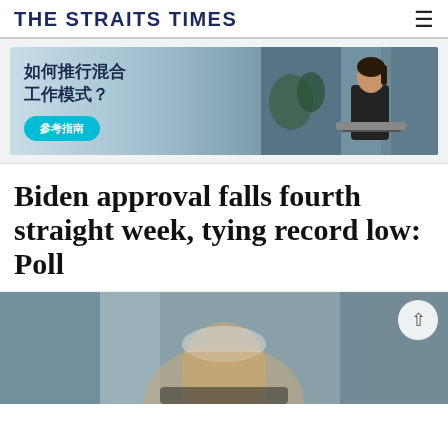THE STRAITS TIMES
[Figure (photo): Advertisement banner with Chinese text '如何推行混合工作模式？' and a '参考指南' button, with an image of a woman working at a laptop in an office setting]
Biden approval falls fourth straight week, tying record low: Poll
[Figure (photo): Partial photo of President Biden at a public event, with blurred background]